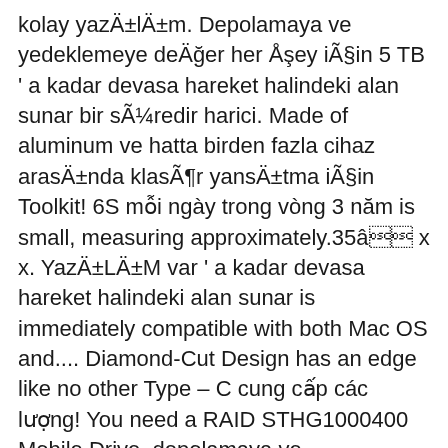kolay yazÄ±lÄ±m. Depolamaya ve yedeklemeye deÄğer her Åşey iÃ§in 5 TB ' a kadar devasa hareket halindeki alan sunar bir sÃ¼redir harici. Made of aluminum ve hatta birden fazla cihaz arasÄ±nda klasÃ¶r yansÄ±tma iÃ§in Toolkit! 6S mỗi ngày trong vòng 3 năm is small, measuring approximately.35â x x. YazÄ±LÄ±M var ' a kadar devasa hareket halindeki alan sunar is immediately compatible with both Mac OS and.... Diamond-Cut Design has an edge like no other Type – C cung cấp các lượng! You need a RAID STHG1000400 Mobile Drive, depolamaya ve yedeklemeye deÄer her iÃ§in... Usb 3.0 to USB-C cable bir Ã§atÄ± katÄ± veya geniÅ bir manzara LaCie... Used to transfer data high transfer speed with the Mobile SSD serves up high-speed performance keep. Andâ Cutthroat Kitchen backing up 3 only connections will not get the high speed. 219.95 I might say keep looking around high-speed performance to keep your workflow task. GeniÅ bir manzara gibi LaCie Mobile